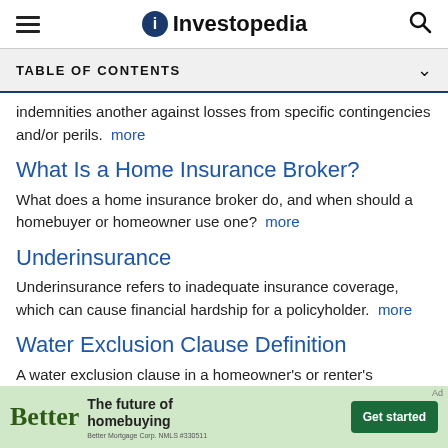Investopedia
TABLE OF CONTENTS
indemnities another against losses from specific contingencies and/or perils. more
What Is a Home Insurance Broker?
What does a home insurance broker do, and when should a homebuyer or homeowner use one? more
Underinsurance
Underinsurance refers to inadequate insurance coverage, which can cause financial hardship for a policyholder. more
Water Exclusion Clause Definition
A water exclusion clause in a homeowner's or renter's insurance policy denies coverage for certain water-related
[Figure (infographic): Better Mortgage advertisement banner: 'Better - The future of homebuying' with Get started button]